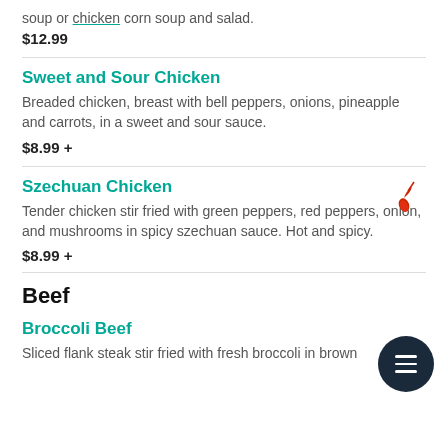soup or chicken corn soup and salad.
$12.99
Sweet and Sour Chicken
Breaded chicken, breast with bell peppers, onions, pineapple and carrots, in a sweet and sour sauce.
$8.99 +
Szechuan Chicken
Tender chicken stir fried with green peppers, red peppers, onion, and mushrooms in spicy szechuan sauce. Hot and spicy.
$8.99 +
Beef
Broccoli Beef
Sliced flank steak stir fried with fresh broccoli in brown